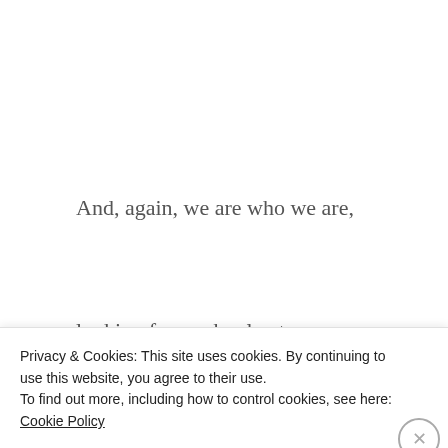And, again, we are who we are,
looking for a school entrance,
nervous and hopeful about all the new ahead of him,
son and mom.
Advertisements
Privacy & Cookies: This site uses cookies. By continuing to use this website, you agree to their use.
To find out more, including how to control cookies, see here: Cookie Policy
Close and accept